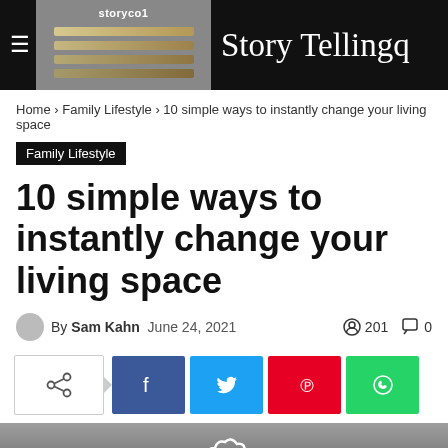storyco1 | Story Tellingq
Home › Family Lifestyle › 10 simple ways to instantly change your living space
Family Lifestyle
10 simple ways to instantly change your living space
By Sam Kahn  June 24, 2021  201  0
[Figure (screenshot): Social sharing buttons: share icon box, Facebook, Twitter, Pinterest, WhatsApp]
[Figure (photo): Bottom portion of a dark grey photo showing a white flower/cloud shape outline]